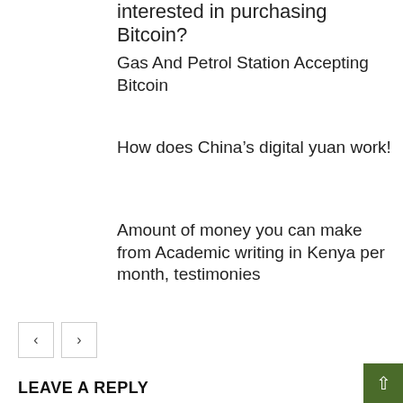interested in purchasing Bitcoin?
Gas And Petrol Station Accepting Bitcoin
How does China’s digital yuan work!
Amount of money you can make from Academic writing in Kenya per month, testimonies
LEAVE A REPLY